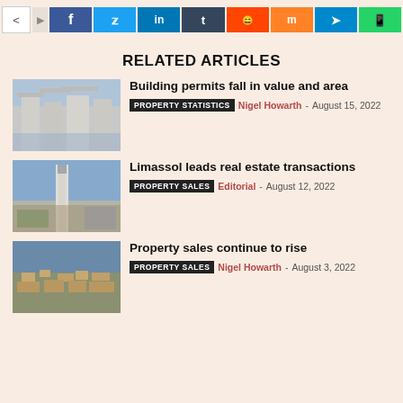[Figure (screenshot): Social media sharing bar with icons for Facebook, Twitter, LinkedIn, Tumblr, Reddit, Mix, Telegram, WhatsApp]
RELATED ARTICLES
[Figure (photo): Photo of a concrete building under construction]
Building permits fall in value and area
PROPERTY STATISTICS  Nigel Howarth - August 15, 2022
[Figure (photo): Photo of Limassol city skyline with a tall tower]
Limassol leads real estate transactions
PROPERTY SALES  Editorial - August 12, 2022
[Figure (photo): Aerial photo of a hillside town]
Property sales continue to rise
PROPERTY SALES  Nigel Howarth - August 3, 2022